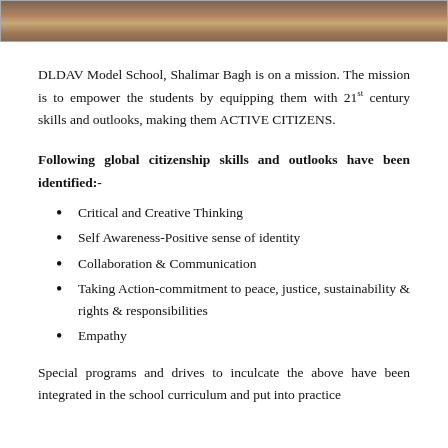[Figure (photo): Partial view of a group photo of students/people, cropped at the top of the page]
DLDAV Model School, Shalimar Bagh is on a mission. The mission is to empower the students by equipping them with 21st century skills and outlooks, making them ACTIVE CITIZENS.
Following global citizenship skills and outlooks have been identified:-
Critical and Creative Thinking
Self Awareness-Positive sense of identity
Collaboration & Communication
Taking Action-commitment to peace, justice, sustainability & rights & responsibilities
Empathy
Special programs and drives to inculcate the above have been integrated in the school curriculum and put into practice